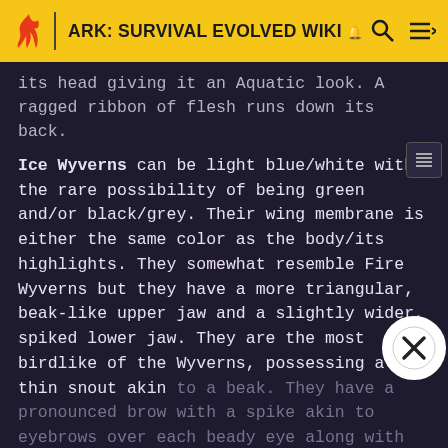ARK: SURVIVAL EVOLVED WIKI
its head giving it an Aquatic look. A ragged ribbon of flesh runs down its back.
Ice Wyverns can be light blue/white with the rare possibility of being green and/or black/grey. Their wing membrane is either the same color as the body/its highlights. They somewhat resemble Fire Wyverns but they have a more triangular, beak-like upper jaw and a slightly wider, spiked lower jaw. They are the most birdlike of the Wyverns, possessing a thin snout akin to a beak. They have a pronounced brow with a spike akin to eyebrows over each beady eye along with additional spikes on their heads akin to hair. Ice Wyverns' bodies are covered with spikes, which start on their shoulders, run down the spine, and end at the tail. Ice